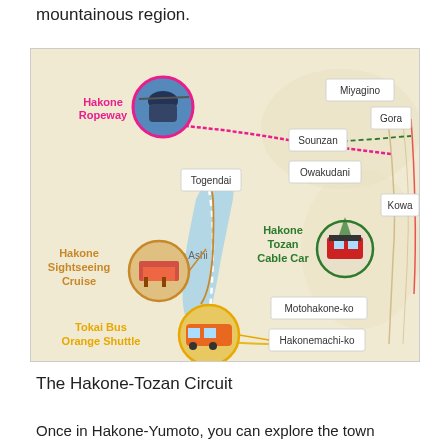mountainous region.
[Figure (map): Map of the Hakone area showing transport connections: Hakone Ropeway (pink), Hakone Tozan Cable Car (green), Hakone Sightseeing Cruise (orange/brown), and Tokai Bus Orange Shuttle (yellow). Key locations labeled: Miyagino, Gora, Sounzan, Owakudani, Togendai, Lake Ashi, Motohakone-ko, Hakonemachi-ko, Kowa.]
The Hakone-Tozan Circuit
Once in Hakone-Yumoto, you can explore the town